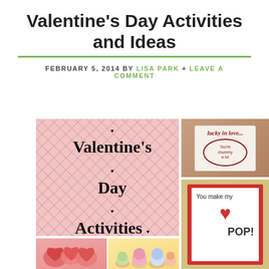Valentine's Day Activities and Ideas
FEBRUARY 5, 2014 BY LISA PARK + LEAVE A COMMENT
[Figure (photo): Collage of Valentine's Day activity images: a pink diamond-pattern background card reading 'Valentine's Day Activities', a 'lucky in love' stamped card, a pop-up heart card reading 'You make my POP!', heart-shaped cookies, and colorful cupcakes/sweets.]